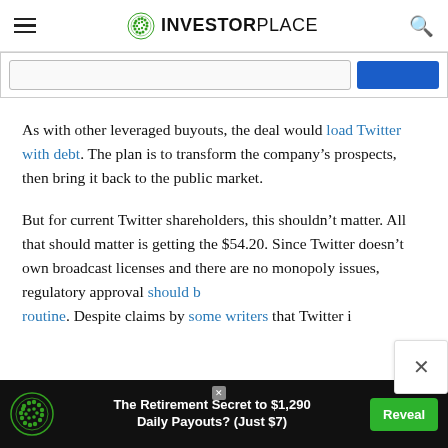INVESTORPLACE
As with other leveraged buyouts, the deal would load Twitter with debt. The plan is to transform the company’s prospects, then bring it back to the public market.
But for current Twitter shareholders, this shouldn’t matter. All that should matter is getting the $54.20. Since Twitter doesn’t own broadcast licenses and there are no monopoly issues, regulatory approval should be routine. Despite claims by some writers that Twitter i
[Figure (screenshot): Bottom advertisement bar: InvestorPlace logo, text 'The Retirement Secret to $1,290 Daily Payouts? (Just $7)', green Reveal button]